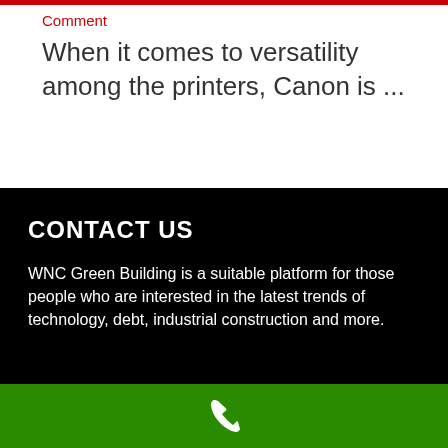Comment
When it comes to versatility among the printers, Canon is ...
CONTACT US
WNC Green Building is a suitable platform for those people who are interested in the latest trends of technology, debt, industrial construction and more.
[Figure (illustration): White phone/call icon on green background bar at bottom of page]